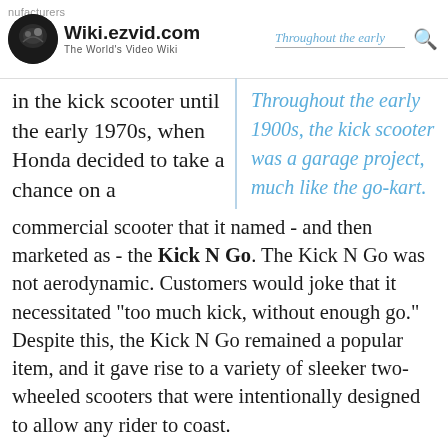Wiki.ezvid.com – The World's Video Wiki
in the kick scooter until the early 1970s, when Honda decided to take a chance on a commercial scooter that it named - and then marketed as - the Kick N Go. The Kick N Go was not aerodynamic. Customers would joke that it necessitated "too much kick, without enough go." Despite this, the Kick N Go remained a popular item, and it gave rise to a variety of sleeker two-wheeled scooters that were intentionally designed to allow any rider to coast.
Throughout the early 1900s, the kick scooter was a garage project, much like the go-kart.
Throughout the 1980s, kick scooters were still